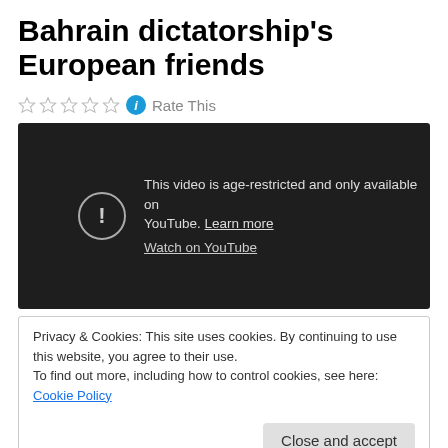Bahrain dictatorship's European friends
☆☆☆☆☆ ℹ Rate This
[Figure (screenshot): YouTube video embed showing age-restriction message: 'This video is age-restricted and only available on YouTube. Learn more' and 'Watch on YouTube' link, on dark background with exclamation circle icon.]
Privacy & Cookies: This site uses cookies. By continuing to use this website, you agree to their use.
To find out more, including how to control cookies, see here: Cookie Policy
[Close and accept button]